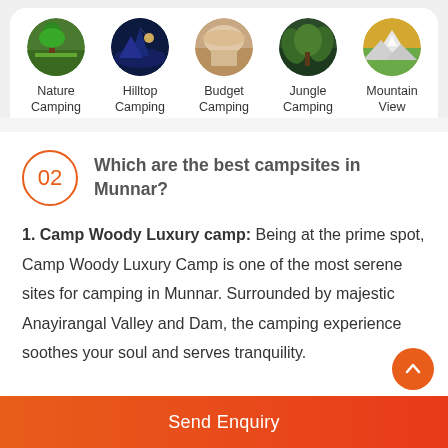[Figure (infographic): Five circular camping category icons in a white card: Nature Camping, Hilltop Camping, Budget Camping, Jungle Camping, Mountain View Camping]
Nature Camping
Hilltop Camping
Budget Camping
Jungle Camping
Mountain View Camping
02  Which are the best campsites in Munnar?
1. Camp Woody Luxury camp: Being at the prime spot, Camp Woody Luxury Camp is one of the most serene sites for camping in Munnar. Surrounded by majestic Anayirangal Valley and Dam, the camping experience soothes your soul and serves tranquility.
Send Enquiry